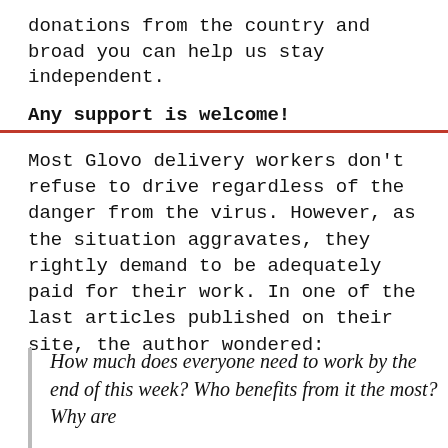donations from the country and broad you can help us stay independent.
Any support is welcome!
Most Glovo delivery workers don't refuse to drive regardless of the danger from the virus. However, as the situation aggravates, they rightly demand to be adequately paid for their work. In one of the last articles published on their site, the author wondered:
How much does everyone need to work by the end of this week? Who benefits from it the most? Why are